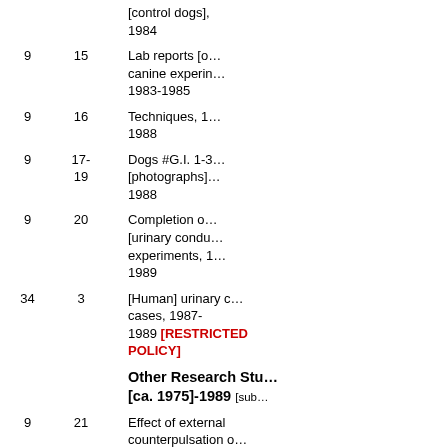| Box | Folder |  | Description |
| --- | --- | --- | --- |
|  |  |  | [control dogs], 1984 |
| 9 | 15 |  | Lab reports [of canine experiments], 1983-1985 |
| 9 | 16 |  | Techniques, 1988 |
| 9 | 17-19 |  | Dogs #G.I. 1-3 [photographs], 1988 |
| 9 | 20 |  | Completion of [urinary conduit] experiments, 1989 |
| 34 | 3 |  | [Human] urinary cases, 1987-1989 [RESTRICTED POLICY] |
|  |  |  | Other Research Studies [ca. 1975]-1989 [sub...] |
| 9 | 21 |  | Effect of external counterpulsation on collateral coronary... |